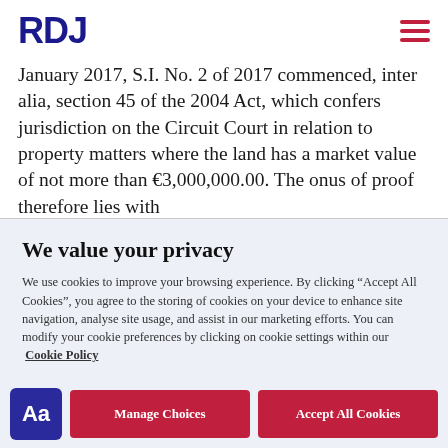RDJ
January 2017, S.I. No. 2 of 2017 commenced, inter alia, section 45 of the 2004 Act, which confers jurisdiction on the Circuit Court in relation to property matters where the land has a market value of not more than €3,000,000.00. The onus of proof therefore lies with
We value your privacy
We use cookies to improve your browsing experience. By clicking “Accept All Cookies”, you agree to the storing of cookies on your device to enhance site navigation, analyse site usage, and assist in our marketing efforts. You can modify your cookie preferences by clicking on cookie settings within our Cookie Policy
Manage Choices
Accept All Cookies